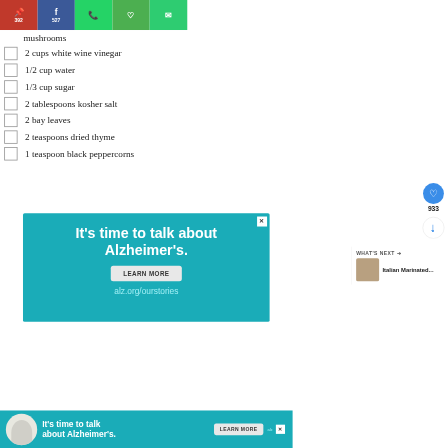Pinterest 392 | Facebook 527 | WhatsApp | Heart | Email
mushrooms
2 cups white wine vinegar
1/2 cup water
1/3 cup sugar
2 tablespoons kosher salt
2 bay leaves
2 teaspoons dried thyme
1 teaspoon black peppercorns
[Figure (screenshot): Advertisement banner: 'It's time to talk about Alzheimer's. LEARN MORE alz.org/ourstories' on teal background with Alzheimer's association logo]
[Figure (screenshot): Second smaller ad strip: 'It's time to talk about Alzheimer's. LEARN MORE' with Alzheimer's association branding]